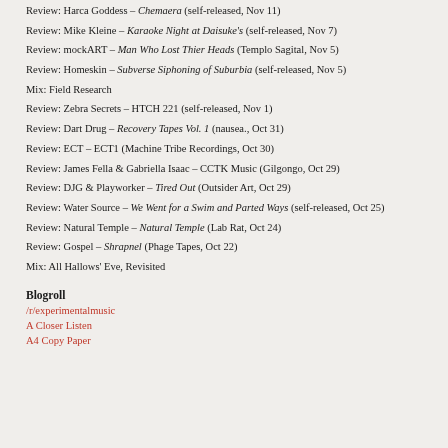Review: Harca Goddess – Chemaera (self-released, Nov 11)
Review: Mike Kleine – Karaoke Night at Daisuke's (self-released, Nov 7)
Review: mockART – Man Who Lost Thier Heads (Templo Sagital, Nov 5)
Review: Homeskin – Subverse Siphoning of Suburbia (self-released, Nov 5)
Mix: Field Research
Review: Zebra Secrets – HTCH 221 (self-released, Nov 1)
Review: Dart Drug – Recovery Tapes Vol. 1 (nausea., Oct 31)
Review: ECT – ECT1 (Machine Tribe Recordings, Oct 30)
Review: James Fella & Gabriella Isaac – CCTK Music (Gilgongo, Oct 29)
Review: DJG & Playworker – Tired Out (Outsider Art, Oct 29)
Review: Water Source – We Went for a Swim and Parted Ways (self-released, Oct 25)
Review: Natural Temple – Natural Temple (Lab Rat, Oct 24)
Review: Gospel – Shrapnel (Phage Tapes, Oct 22)
Mix: All Hallows' Eve, Revisited
Blogroll
/r/experimentalmusic
A Closer Listen
A4 Copy Paper